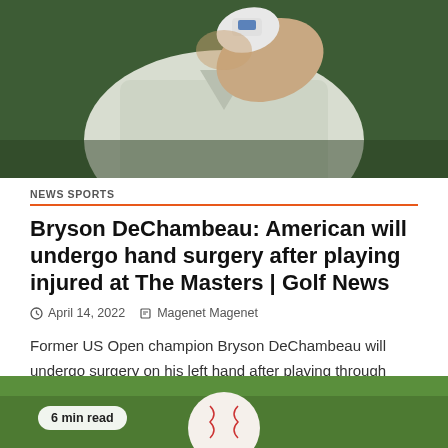[Figure (photo): Bryson DeChambeau golfer in white shirt and golf glove, hand raised to face, green background]
NEWS SPORTS
Bryson DeChambeau: American will undergo hand surgery after playing injured at The Masters | Golf News
April 14, 2022   Magenet Magenet
Former US Open champion Bryson DeChambeau will undergo surgery on his left hand after playing through injury to compete at...
[Figure (photo): Close-up of a baseball on green grass with a badge showing '6 min read']